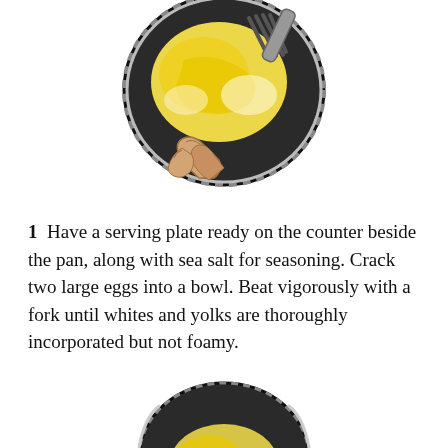[Figure (illustration): Illustration of a hand holding a dark round pan with scrambled yellow eggs being stirred by a fork, viewed from above.]
1  Have a serving plate ready on the counter beside the pan, along with sea salt for seasoning. Crack two large eggs into a bowl. Beat vigorously with a fork until whites and yolks are thoroughly incorporated but not foamy.
[Figure (illustration): Partial illustration of the bottom of a dark round pan, viewed from above, showing the beginning of a new step.]